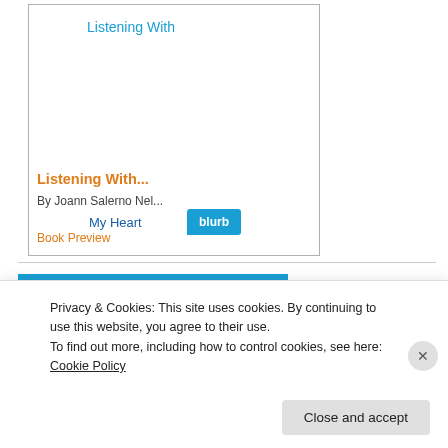[Figure (screenshot): Book card showing 'Listening With...' by Joann Salerno Nel... with My Heart subtitle, Book Preview link, and Blurb badge]
[Figure (screenshot): Partial second book card with blue background and image placeholder]
Privacy & Cookies: This site uses cookies. By continuing to use this website, you agree to their use.
To find out more, including how to control cookies, see here: Cookie Policy
Close and accept